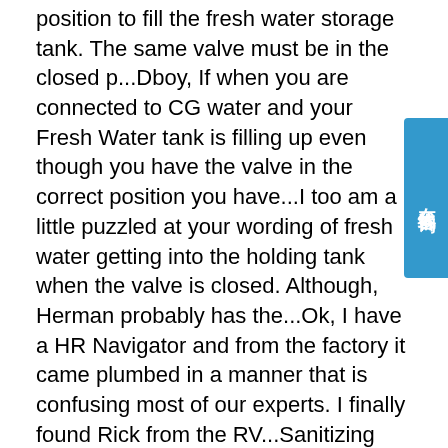position to fill the fresh water storage tank. The same valve must be in the closed p...Dboy, If when you are connected to CG water and your Fresh Water tank is filling up even though you have the valve in the correct position you have...I too am a little puzzled at your wording of fresh water getting into the holding tank when the valve is closed. Although, Herman probably has the...Ok, I have a HR Navigator and from the factory it came plumbed in a manner that is confusing most of our experts. I finally found Rick from the RV...Sanitizing Fresh Water TankSep 24, 2017Monaco/Roadmaster Coolant Surge Bottle - EnginesDec 06, 2013See more resultssp.info I HAVE A 1996 MONACO WINDSOR COACH. THE WATER …Jan 29, 2010 · ok.. well monaco being in the trouble they were in, parts from them difficult, however, they are starting to supply again and your first port of call would be a monaco dealer. however, you probably find, your specific one is no longer available, that is one of those parts that gets